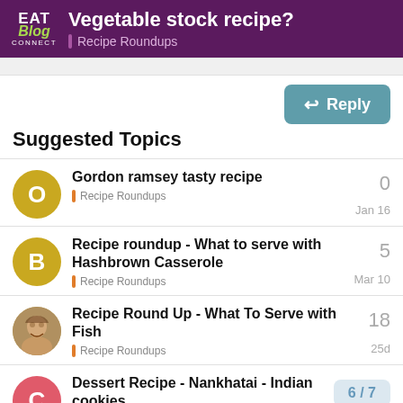EAT Blog CONNECT — Vegetable stock recipe? — Recipe Roundups
Suggested Topics
Gordon ramsey tasty recipe — Recipe Roundups — 0 — Jan 16
Recipe roundup - What to serve with Hashbrown Casserole — Recipe Roundups — 5 — Mar 10
Recipe Round Up - What To Serve with Fish — Recipe Roundups — 18 — 25d
Dessert Recipe - Nankhatai - Indian cookies — Recipe Roundups — 1 — 6/7